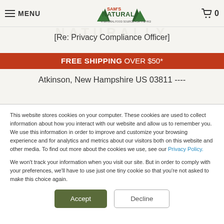MENU  [Sam's Natural logo]  0
[Re: Privacy Compliance Officer]
FREE SHIPPING OVER $50*
Atkinson, New Hampshire US 03811 ----
This website stores cookies on your computer. These cookies are used to collect information about how you interact with our website and allow us to remember you. We use this information in order to improve and customize your browsing experience and for analytics and metrics about our visitors both on this website and other media. To find out more about the cookies we use, see our Privacy Policy.

We won't track your information when you visit our site. But in order to comply with your preferences, we'll have to use just one tiny cookie so that you're not asked to make this choice again.
Accept
Decline